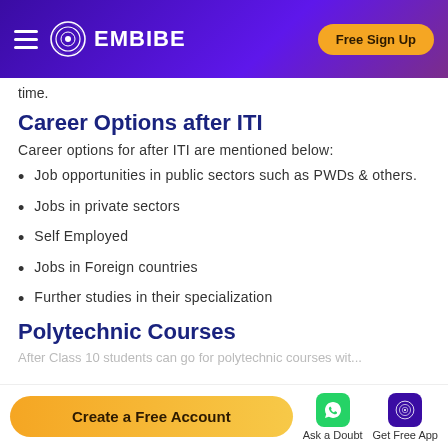EMBIBE — Free Sign Up
time.
Career Options after ITI
Career options for after ITI are mentioned below:
Job opportunities in public sectors such as PWDs & others.
Jobs in private sectors
Self Employed
Jobs in Foreign countries
Further studies in their specialization
Polytechnic Courses
Create a Free Account   Ask a Doubt   Get Free App